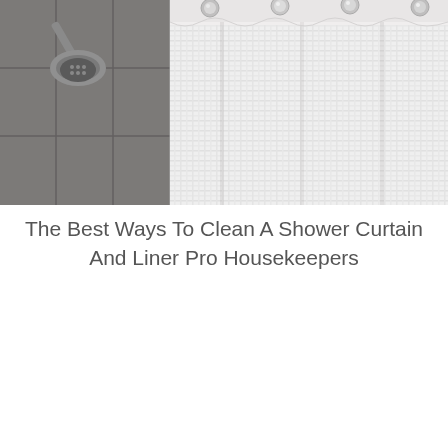[Figure (photo): Photograph showing a bathroom shower scene: left side shows a chrome shower head mounted on dark gray tile wall; right side shows a white waffle-textured shower curtain with chrome snap hooks along the top rod.]
The Best Ways To Clean A Shower Curtain And Liner Pro Housekeepers